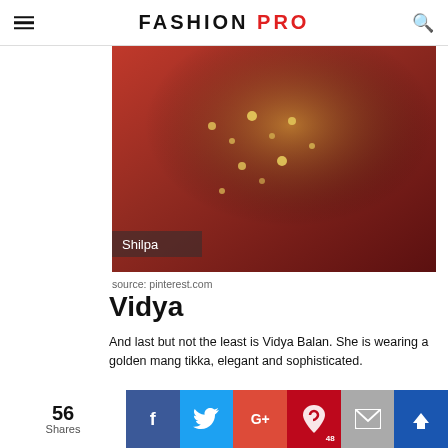FASHION PRO
[Figure (photo): Close-up photo of a woman in a red bridal outfit with gold jewelry and embroidery, labeled 'Shilpa']
source: pinterest.com
Vidya
And last but not the least is Vidya Balan. She is wearing a golden mang tikka, elegant and sophisticated.
[Figure (photo): Partial photo of jewelry/accessory on dark background]
56 Shares — Facebook, Twitter, Google+, Pinterest (48), Mail, Crown share buttons